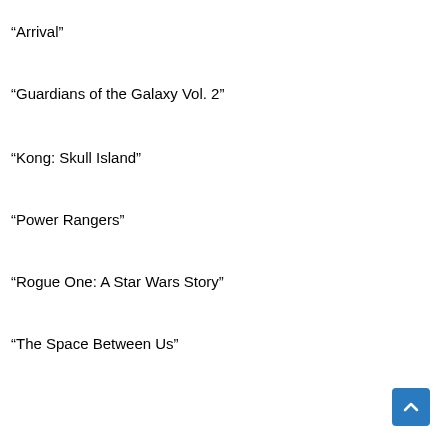“Arrival”
“Guardians of the Galaxy Vol. 2”
“Kong: Skull Island”
“Power Rangers”
“Rogue One: A Star Wars Story”
“The Space Between Us”